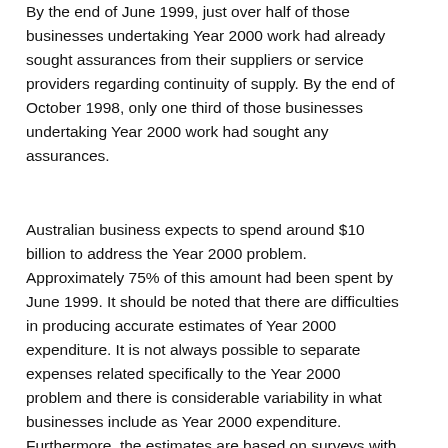By the end of June 1999, just over half of those businesses undertaking Year 2000 work had already sought assurances from their suppliers or service providers regarding continuity of supply. By the end of October 1998, only one third of those businesses undertaking Year 2000 work had sought any assurances.
Australian business expects to spend around $10 billion to address the Year 2000 problem. Approximately 75% of this amount had been spent by June 1999. It should be noted that there are difficulties in producing accurate estimates of Year 2000 expenditure. It is not always possible to separate expenses related specifically to the Year 2000 problem and there is considerable variability in what businesses include as Year 2000 expenditure. Furthermore, the estimates are based on surveys with relatively small sample sizes.